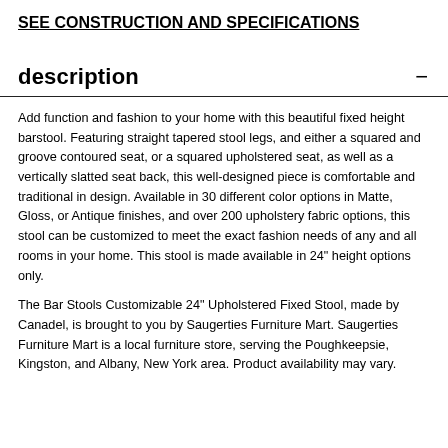SEE CONSTRUCTION AND SPECIFICATIONS
description
Add function and fashion to your home with this beautiful fixed height barstool. Featuring straight tapered stool legs, and either a squared and groove contoured seat, or a squared upholstered seat, as well as a vertically slatted seat back, this well-designed piece is comfortable and traditional in design. Available in 30 different color options in Matte, Gloss, or Antique finishes, and over 200 upholstery fabric options, this stool can be customized to meet the exact fashion needs of any and all rooms in your home. This stool is made available in 24" height options only.
The Bar Stools Customizable 24" Upholstered Fixed Stool, made by Canadel, is brought to you by Saugerties Furniture Mart. Saugerties Furniture Mart is a local furniture store, serving the Poughkeepsie, Kingston, and Albany, New York area. Product availability may vary.